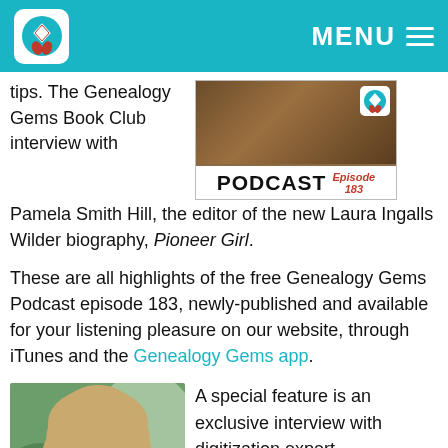MENU
tips. The Genealogy Gems Book Club interview with Pamela Smith Hill, the editor of the new Laura Ingalls Wilder biography, Pioneer Girl.
[Figure (other): Genealogy Gems Podcast Episode 183 banner image with logo]
These are all highlights of the free Genealogy Gems Podcast episode 183, newly-published and available for your listening pleasure on our website, through iTunes and the Genealogy Gems app.
[Figure (photo): Photo of a young woman with blonde hair, smiling]
A special feature is an exclusive interview with digitization expert